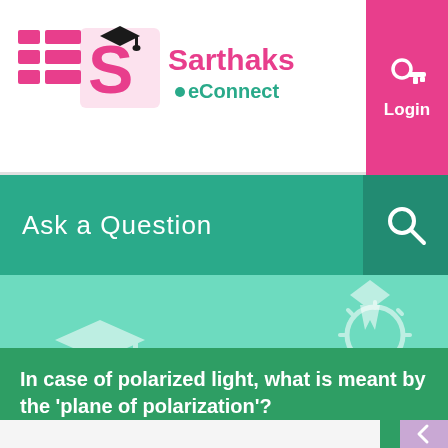[Figure (logo): Sarthaks eConnect logo with graduation cap icon and pink menu icon]
[Figure (screenshot): Login button with key icon in pink/magenta]
Ask a Question
[Figure (illustration): Teal background with decorative education icons: graduation caps and light bulb]
In case of polarized light, what is meant by the ‘plane of polarization’?